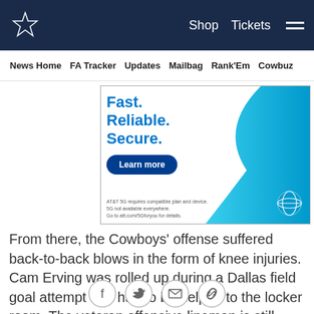Shop  Tickets  ☰
News Home  FA Tracker  Updates  Mailbag  Rank'Em  Cowbuz
[Figure (infographic): AT&T 5G advertisement banner with text 'Fast. Reliable. Secure.' a 'Learn more' button, blue wave graphic, AT&T globe logo, and fine print about 5G requirements.]
From there, the Cowboys' offense suffered back-to-back blows in the form of knee injuries. Cam Erving was rolled up during a Dallas field goal attempt and had to be helped to the locker room. The veteran offensive lineman is still being evaluated but is expected to miss
[Figure (infographic): Social sharing icons: Facebook, Twitter, Email, Link]